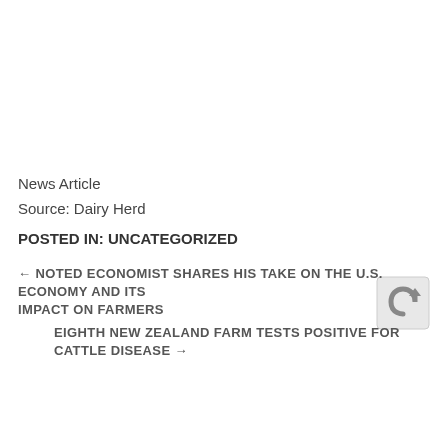News Article
Source: Dairy Herd
POSTED IN: UNCATEGORIZED
← NOTED ECONOMIST SHARES HIS TAKE ON THE U.S. ECONOMY AND ITS IMPACT ON FARMERS
EIGHTH NEW ZEALAND FARM TESTS POSITIVE FOR CATTLE DISEASE →